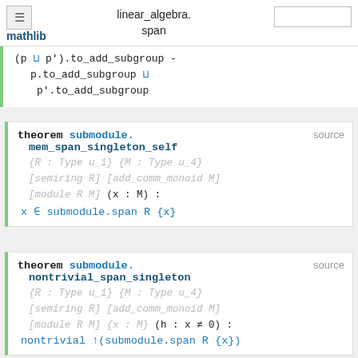linear_algebra.span
(p ⊔ p').to_add_subgroup =
    p.to_add_subgroup ⊔
     p'.to_add_subgroup
theorem submodule.mem_span_singleton_self {R : Type u_1} {M : Type u_4} [semiring R] [add_comm_monoid M] [module R M] (x : M) :
  x ∈ submodule.span R {x}
theorem submodule.nontrivial_span_singleton {R : Type u_1} {M : Type u_4} [semiring R] [add_comm_monoid M] [module R M] {x : M} (h : x ≠ 0) :
  nontrivial ↑(submodule.span R {x})